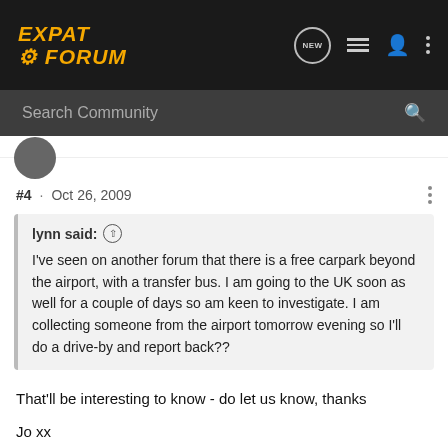EXPAT FORUM
Search Community
#4 · Oct 26, 2009
lynn said: ↑
I've seen on another forum that there is a free carpark beyond the airport, with a transfer bus. I am going to the UK soon as well for a couple of days so am keen to investigate. I am collecting someone from the airport tomorrow evening so I'll do a drive-by and report back??
That'll be interesting to know - do let us know, thanks
Jo xx